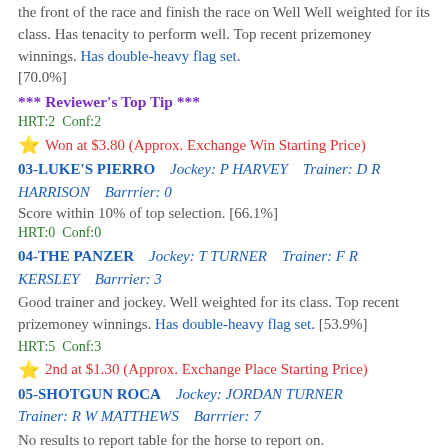the front of the race and finish the race on Well Well weighted for its class. Has tenacity to perform well. Top recent prizemoney winnings. Has double-heavy flag set. [70.0%]
*** Reviewer's Top Tip ***
HRT:2  Conf:2
⭐ Won at $3.80 (Approx. Exchange Win Starting Price)
03-LUKE'S PIERRO    Jockey: P HARVEY    Trainer: D R HARRISON    Barrrier: 0
Score within 10% of top selection. [66.1%]
HRT:0  Conf:0
04-THE PANZER    Jockey: T TURNER    Trainer: F R KERSLEY    Barrrier: 3
Good trainer and jockey. Well weighted for its class. Top recent prizemoney winnings. Has double-heavy flag set. [53.9%]
HRT:5  Conf:3
⭐ 2nd at $1.30 (Approx. Exchange Place Starting Price)
05-SHOTGUN ROCA    Jockey: JORDAN TURNER    Trainer: R W MATTHEWS    Barrrier: 7
No results to report table for the horse to report on.